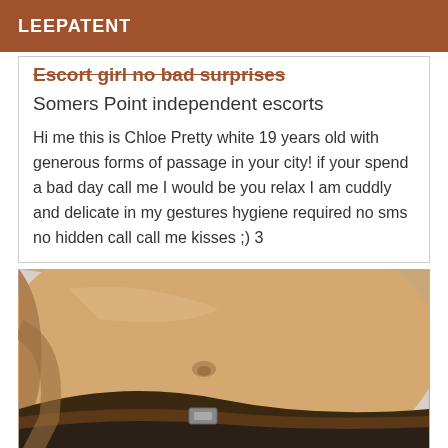LEEPATENT
Escort girl no bad surprises
Somers Point independent escorts
Hi me this is Chloe Pretty white 19 years old with generous forms of passage in your city! if your spend a bad day call me I would be you relax I am cuddly and delicate in my gestures hygiene required no sms no hidden call call me kisses ;) 3
[Figure (photo): Photo of a person's torso/midsection showing bare skin and jeans with a belt]